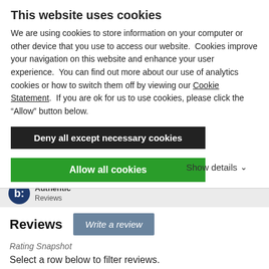This website uses cookies
We are using cookies to store information on your computer or other device that you use to access our website.  Cookies improve your navigation on this website and enhance your user experience.  You can find out more about our use of analytics cookies or how to switch them off by viewing our Cookie Statement.  If you are ok for us to use cookies, please click the “Allow” button below.
Deny all except necessary cookies
Allow all cookies
Show details ∨
[Figure (logo): Bazaarvoice logo with 'b:' in a dark blue circle and 'Authentic Reviews' text]
Reviews
Write a review
Rating Snapshot
Select a row below to filter reviews.
5 ★  [bar chart]  12